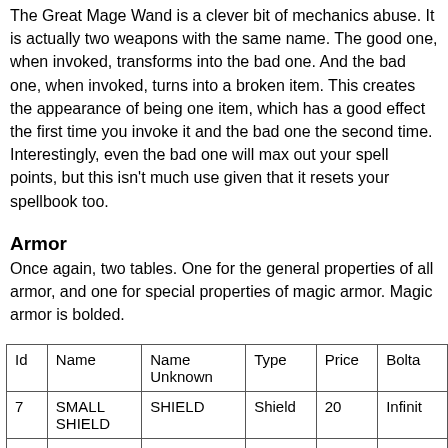The Great Mage Wand is a clever bit of mechanics abuse. It is actually two weapons with the same name. The good one, when invoked, transforms into the bad one. And the bad one, when invoked, turns into a broken item. This creates the appearance of being one item, which has a good effect the first time you invoke it and the bad one the second time. Interestingly, even the bad one will max out your spell points, but this isn't much use given that it resets your spellbook too.
Armor
Once again, two tables. One for the general properties of all armor, and one for special properties of magic armor. Magic armor is bolded.
| Id | Name | Name Unknown | Type | Price | Bolta... |
| --- | --- | --- | --- | --- | --- |
| 7 | SMALL SHIELD | SHIELD | Shield | 20 | Infinit... |
|  | LARGE |  |  |  |  |